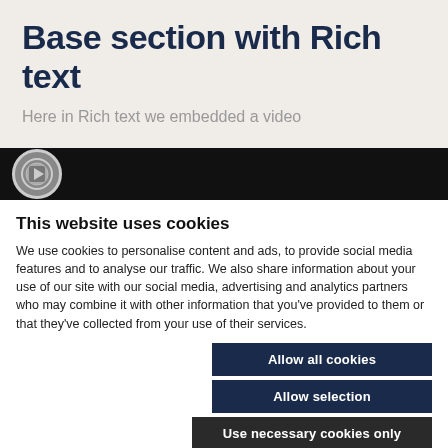Base section with Rich text
Here in Rich text we embedded a video
[Figure (screenshot): Video player thumbnail strip showing a circular logo/icon on dark background]
This website uses cookies
We use cookies to personalise content and ads, to provide social media features and to analyse our traffic. We also share information about your use of our site with our social media, advertising and analytics partners who may combine it with other information that you've provided to them or that they've collected from your use of their services.
Allow all cookies
Allow selection
Use necessary cookies only
Necessary  Preferences  Statistics  Marketing  Show details